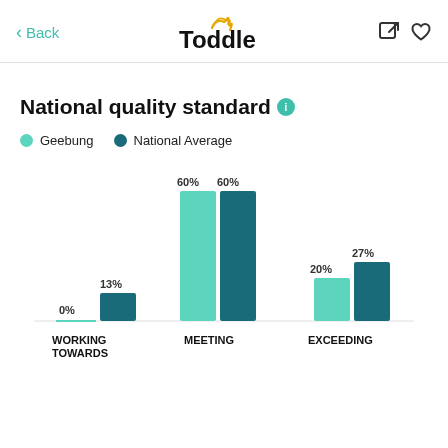Back | Toddle
National quality standard
[Figure (grouped-bar-chart): National quality standard]